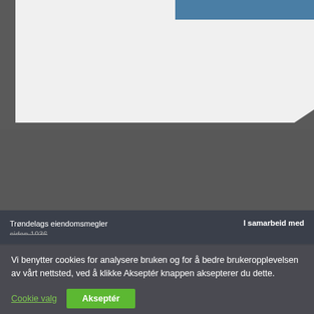[Figure (screenshot): Top section of a Norwegian real estate website showing a light gray card/modal area with a blue button in the upper right, against a darker gray background webpage]
Trøndelags eiendomsmegler siden 1936
I samarbeid med
Vi benytter cookies for analysere bruken og for å bedre brukeropplevelsen av vårt nettsted, ved å klikke Akseptér knappen aksepterer du dette.
Cookie valg
Akseptér